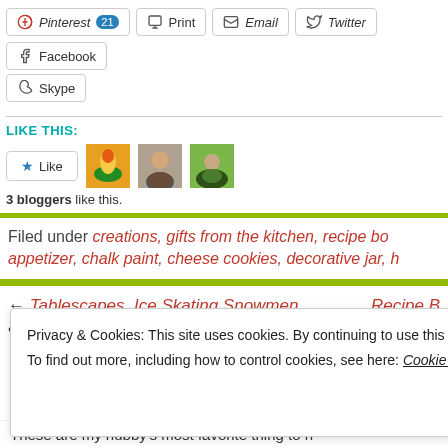Pinterest 21 | Print | Email | Twitter | Facebook | Skype
LIKE THIS:
3 bloggers like this.
Filed under creations, gifts from the kitchen, recipe bo... appetizer, chalk paint, cheese cookies, decorative jar, h...
← Tablescapes, Ice Skating Snowmen    Recipe B...
Privacy & Cookies: This site uses cookies. By continuing to use this website, you agree to their use. To find out more, including how to control cookies, see here: Cookie Policy
Close and accept
These are my hubby's most favorite thing to h...